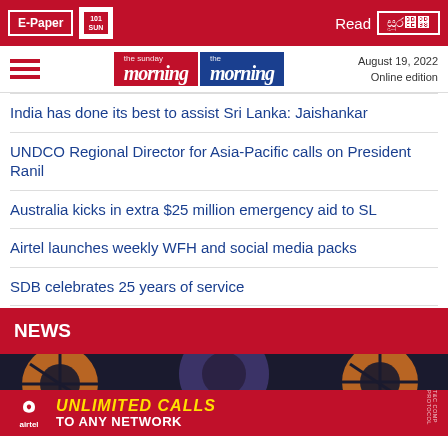E-Paper | Read
[Figure (logo): The Sunday Morning and The Morning newspaper logos with hamburger menu and date]
August 19, 2022
Online edition
India has done its best to assist Sri Lanka: Jaishankar
UNDCO Regional Director for Asia-Pacific calls on President Ranil
Australia kicks in extra $25 million emergency aid to SL
Airtel launches weekly WFH and social media packs
SDB celebrates 25 years of service
NEWS
[Figure (photo): News photo with Airtel advertisement overlay showing UNLIMITED CALLS TO ANY NETWORK]